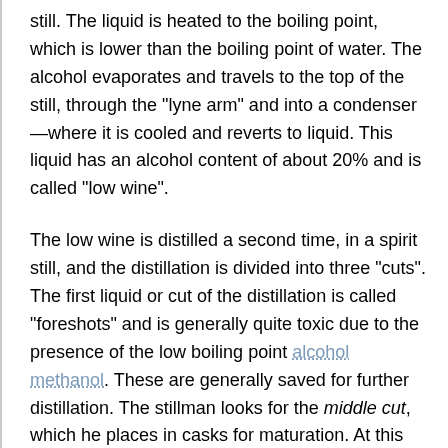still. The liquid is heated to the boiling point, which is lower than the boiling point of water. The alcohol evaporates and travels to the top of the still, through the "lyne arm" and into a condenser—where it is cooled and reverts to liquid. This liquid has an alcohol content of about 20% and is called "low wine".
The low wine is distilled a second time, in a spirit still, and the distillation is divided into three "cuts". The first liquid or cut of the distillation is called "foreshots" and is generally quite toxic due to the presence of the low boiling point alcohol methanol. These are generally saved for further distillation. The stillman looks for the middle cut, which he places in casks for maturation. At this stage it is called new make. Its alcohol content can be